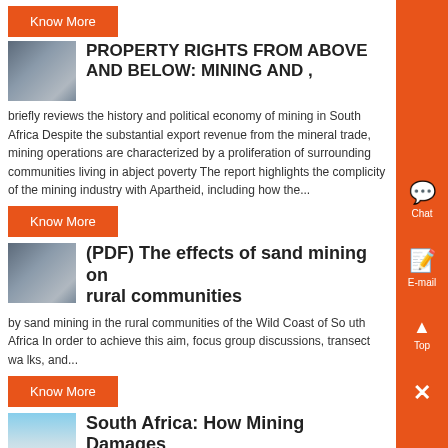Know More
[Figure (photo): Industrial machinery/equipment photo thumbnail]
PROPERTY RIGHTS FROM ABOVE AND BELOW: MINING AND ,
briefly reviews the history and political economy of mining in South Africa Despite the substantial export revenue from the mineral trade, mining operations are characterized by a proliferation of surrounding communities living in abject poverty The report highlights the complicity of the mining industry with Apartheid, including how the...
Know More
[Figure (photo): Industrial machinery/piping photo thumbnail]
(PDF) The effects of sand mining on rural communities
by sand mining in the rural communities of the Wild Coast of So uth Africa In order to achieve this aim, focus group discussions, transect wa lks, and...
Know More
[Figure (photo): Landscape/outdoor photo thumbnail]
South Africa: How Mining Damages